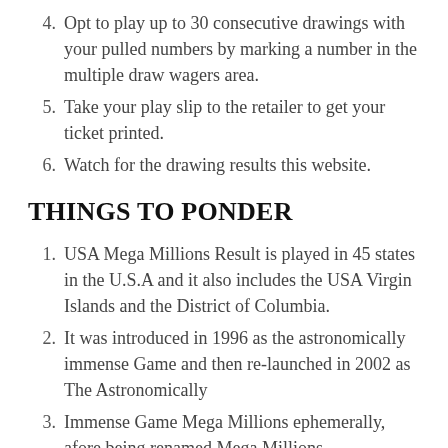4. Opt to play up to 30 consecutive drawings with your pulled numbers by marking a number in the multiple draw wagers area.
5. Take your play slip to the retailer to get your ticket printed.
6. Watch for the drawing results this website.
THINGS TO PONDER
1. USA Mega Millions Result is played in 45 states in the U.S.A and it also includes the USA Virgin Islands and the District of Columbia.
2. It was introduced in 1996 as the astronomically immense Game and then re-launched in 2002 as The Astronomically
3. Immense Game Mega Millions ephemerally, afore being renamed Mega Millions.